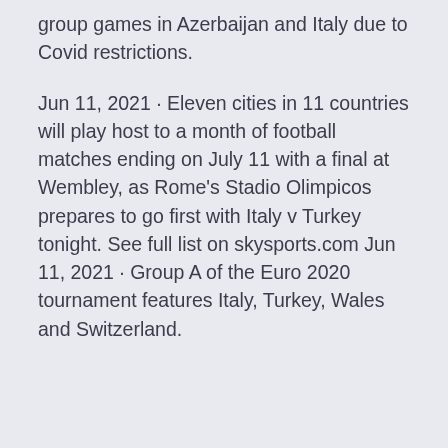group games in Azerbaijan and Italy due to Covid restrictions.
Jun 11, 2021 · Eleven cities in 11 countries will play host to a month of football matches ending on July 11 with a final at Wembley, as Rome's Stadio Olimpicos prepares to go first with Italy v Turkey tonight. See full list on skysports.com Jun 11, 2021 · Group A of the Euro 2020 tournament features Italy, Turkey, Wales and Switzerland.